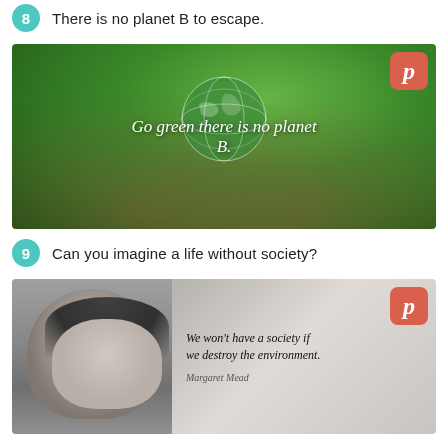There is no planet B to escape.
[Figure (photo): Hands holding a green globe surrounded by leaves with text overlay: 'Go green there is no planet B.' Pinterest badge in top right corner.]
Can you imagine a life without society?
[Figure (photo): Black and white portrait photo of Margaret Mead beside quote text: 'We won't have a society if we destroy the environment.' Attribution: Margaret Mead. Pinterest badge in top right corner.]